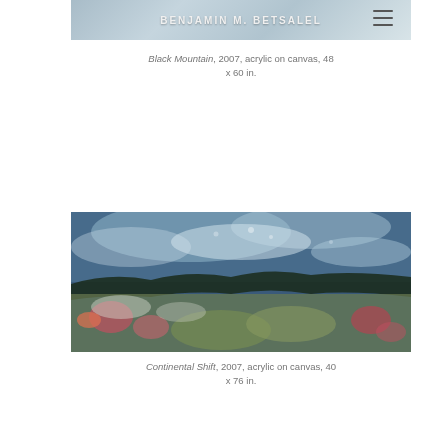BENJAMIN M. BETSALEL
Black Mountain, 2007, acrylic on canvas, 48 x 60 in.
[Figure (photo): Painting of Continental Shift – abstract landscape with blue, white, green, and red tones, acrylic on canvas]
Continental Shift, 2007, acrylic on canvas, 40 x 76 in.